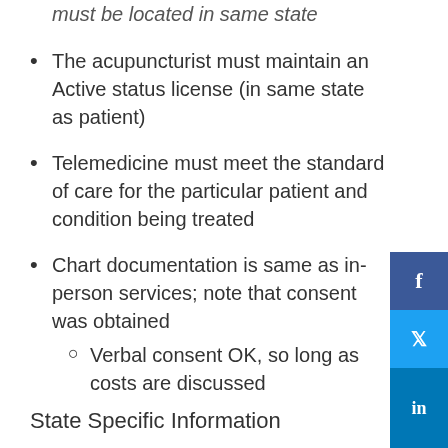must be located in same state
The acupuncturist must maintain an Active status license (in same state as patient)
Telemedicine must meet the standard of care for the particular patient and condition being treated
Chart documentation is same as in-person services; note that consent was obtained
Verbal consent OK, so long as costs are discussed
State Specific Information